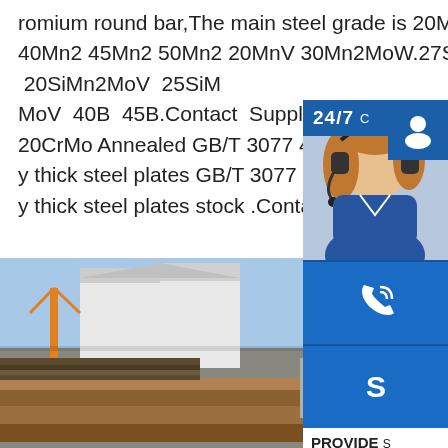romium round bar,The main steel grade is 20MN2 30Mn2 35Mn2 40Mn2 45Mn2 50Mn2 20MnV 30Mn2MoW.27SiMn 35SiMn 42SiMn 20SiMn2MoV 25SiMnMoV 40B 45B.Contact Supplier.sp.infoG 20CrMo Annealed GB/T 3077 40CrNi 45 y thick steel plates GB/T 3077 40CrNi 45 y thick steel plates stock .Contact Supplie
[Figure (photo): Photo of stacked steel plates in an industrial yard with warehouse buildings and a crane in the background, overlaid with a customer service widget panel on the right showing a woman with a headset, 24/7 chat button, phone icon, Skype icon, PROVIDE tagline, and online live button.]